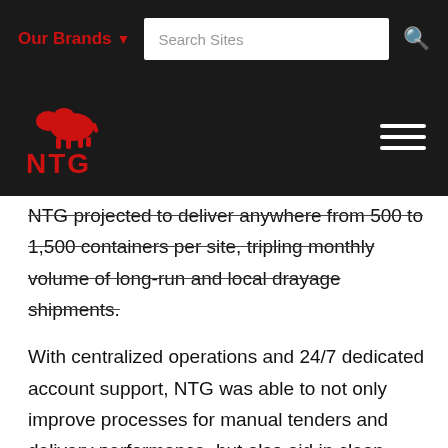Our Brands  Search Sites
[Figure (logo): NTG logo with red bison animal above NTG letters in red, on dark background]
NTG projected to deliver anywhere from 500 to 1,500 containers per site, tripling monthly volume of long-run and local drayage shipments.
With centralized operations and 24/7 dedicated account support, NTG was able to not only improve processes for manual tenders and delivery performance, but also aid in clean energy initiatives. This partnership brought Longi Solar from a 10-day average monthly load pre-book in the first half of 2020 to a 23-day average load pre-book six months later. This increased lead time provided LONGi Solar with operational